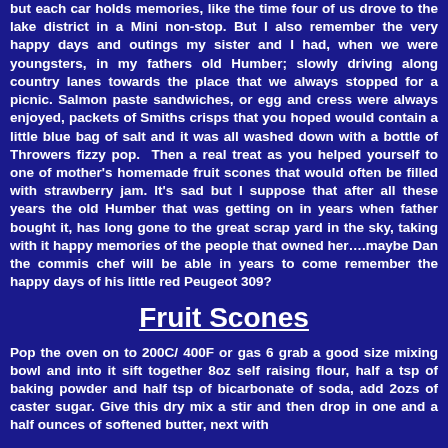but each car holds memories, like the time four of us drove to the lake district in a Mini non-stop. But I also remember the very happy days and outings my sister and I had, when we were youngsters, in my fathers old Humber; slowly driving along country lanes towards the place that we always stopped for a picnic. Salmon paste sandwiches, or egg and cress were always enjoyed, packets of Smiths crisps that you hoped would contain a little blue bag of salt and it was all washed down with a bottle of Throwers fizzy pop. Then a real treat as you helped yourself to one of mother's homemade fruit scones that would often be filled with strawberry jam. It's sad but I suppose that after all these years the old Humber that was getting on in years when father bought it, has long gone to the great scrap yard in the sky, taking with it happy memories of the people that owned her….maybe Dan the commis chef will be able in years to come remember the happy days of his little red Peugeot 309?
Fruit Scones
Pop the oven on to 200C/ 400F or gas 6 grab a good size mixing bowl and into it sift together 8oz self raising flour, half a tsp of baking powder and half tsp of bicarbonate of soda, add 2ozs of caster sugar. Give this dry mix a stir and then drop in one and a half ounces of softened butter, next with